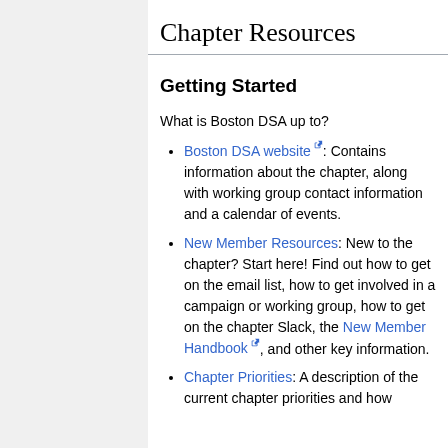Chapter Resources
Getting Started
What is Boston DSA up to?
Boston DSA website: Contains information about the chapter, along with working group contact information and a calendar of events.
New Member Resources: New to the chapter? Start here! Find out how to get on the email list, how to get involved in a campaign or working group, how to get on the chapter Slack, the New Member Handbook, and other key information.
Chapter Priorities: A description of the current chapter priorities and how